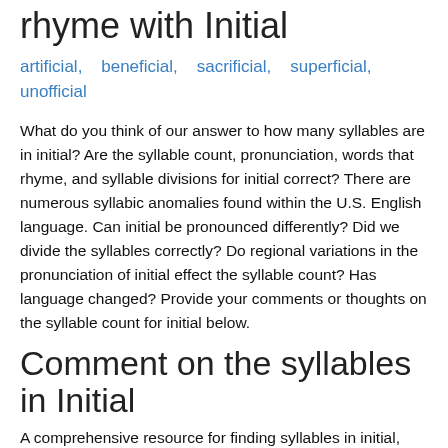rhyme with Initial
artificial,   beneficial,   sacrificial,   superficial,   unofficial
What do you think of our answer to how many syllables are in initial? Are the syllable count, pronunciation, words that rhyme, and syllable divisions for initial correct? There are numerous syllabic anomalies found within the U.S. English language. Can initial be pronounced differently? Did we divide the syllables correctly? Do regional variations in the pronunciation of initial effect the syllable count? Has language changed? Provide your comments or thoughts on the syllable count for initial below.
Comment on the syllables in Initial
A comprehensive resource for finding syllables in initial, how many syllables are in initial, words that rhyme with initial, how to divide initial into syllables, how to pronounce initial in US and British English, how to break initial into syllables.